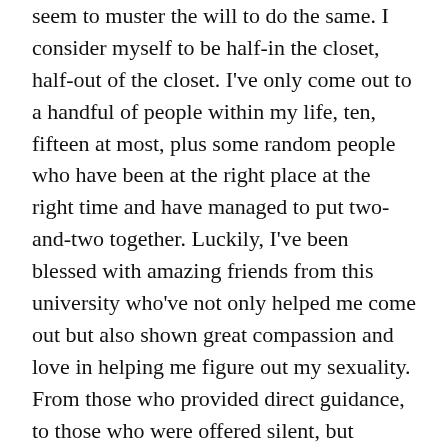seem to muster the will to do the same. I consider myself to be half-in the closet, half-out of the closet. I've only come out to a handful of people within my life, ten, fifteen at most, plus some random people who have been at the right place at the right time and have managed to put two-and-two together. Luckily, I've been blessed with amazing friends from this university who've not only helped me come out but also shown great compassion and love in helping me figure out my sexuality. From those who provided direct guidance, to those who were offered silent, but valued support, I'm forever grateful.
I'd recommend to anyone questioning their sexuality to find an LGBTQ+ person to converse with, because sometimes hearing it from a similar...